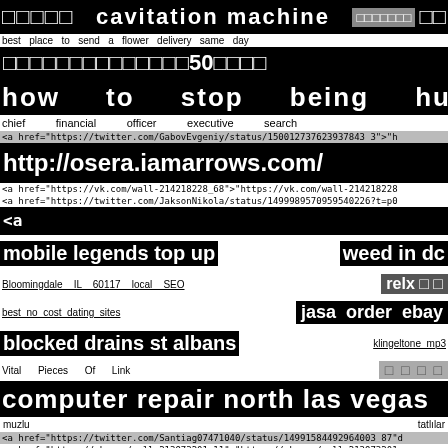□□□□□ cavitation machine □□□□□□□ □□
best place to send a flower delivery same day
□□□□□□□□□□□□□□50□□□□
how to stop being hungry
chief financial officer executive search
<a href="https://twitter.com/GabovEvgeniy/status/150012737623937843 3">"h
http://osera.iamarrows.com/
<a href="https://vk.com/wall-214218228_68">"https://vk.com/wall-214218228
<a href="https://twitter.com/JaksonNikola/status/1499989570959540226?t=p0
<a href="https://twitter.com/NATAaaa50944645/statu
mobile legends top up   weed in dc
Bloomingdale IL 60117 local SEO   relx □ □
best no cost dating sites   jasa order ebay
blocked drains st albans   klingeltone_mp3
Vital Pieces Of Link □ □ □ □
computer repair north las vegas
muzlu  tatlılar
<a href="https://twitter.com/Santiag07471040/status/14991584492964003 87"d
<a href="https://vk.com/wall-213973201_11">"https://vk.com/wall-213973201
□ □ □ □
<a href="https://savvydion.com/?bmDomain=twitter.com%2FRaul77333889%